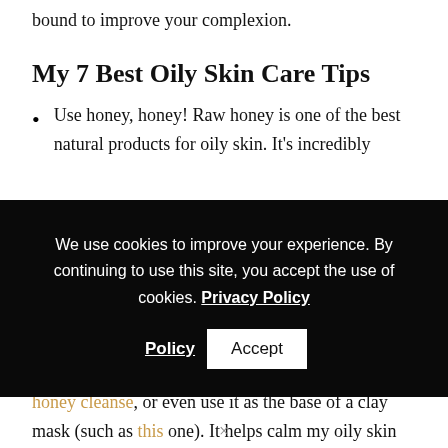bound to improve your complexion.
My 7 Best Oily Skin Care Tips
Use honey, honey! Raw honey is one of the best natural products for oily skin. It's incredibly
We use cookies to improve your experience. By continuing to use this site, you accept the use of cookies. Privacy Policy
cleansing, as a spot treatment for pesky pimples, to honey cleanse, or even use it as the base of a clay mask (such as this one). It helps calm my oily skin during breakouts, and my roommate [redacted]